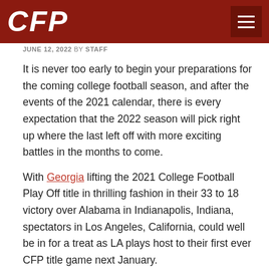CFP
JUNE 12, 2022 by STAFF
It is never too early to begin your preparations for the coming college football season, and after the events of the 2021 calendar, there is every expectation that the 2022 season will pick right up where the last left off with more exciting battles in the months to come.
With Georgia lifting the 2021 College Football Play Off title in thrilling fashion in their 33 to 18 victory over Alabama in Indianapolis, Indiana, spectators in Los Angeles, California, could well be in for a treat as LA plays host to their first ever CFP title game next January.
2022's action sees Week Zero kick off on Saturday, August 27 and a week later we officially have Week One's big kick off and for fans who like a flutter Novibet is one of the many options available.